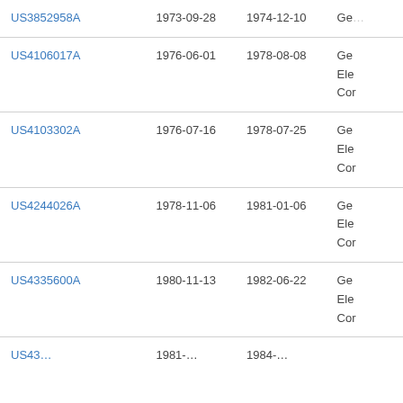| US3852958A | 1973-09-28 | 1974-12-10 | Ge… |
| US4106017A | 1976-06-01 | 1978-08-08 | Ge… Ele… Cor… |
| US4103302A | 1976-07-16 | 1978-07-25 | Ge… Ele… Cor… |
| US4244026A | 1978-11-06 | 1981-01-06 | Ge… Ele… Cor… |
| US4335600A | 1980-11-13 | 1982-06-22 | Ge… Ele… Cor… |
| (truncated) | 1981-… | 1984-… | … |